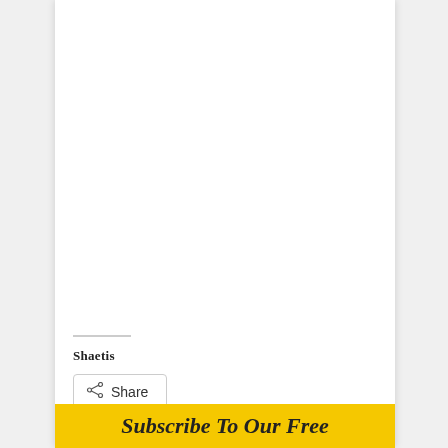Shaetis
Share
Subscribe To Our Free